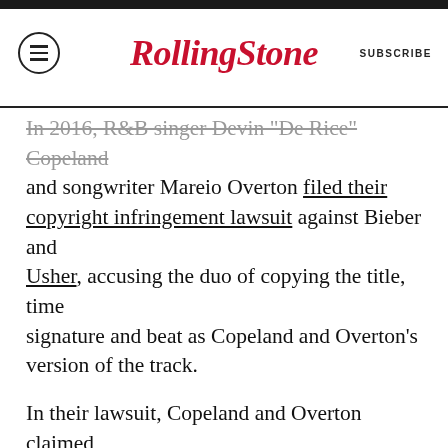RollingStone | SUBSCRIBE
In 2016, R&B singer Devin "De Rice" Copeland and songwriter Mareio Overton filed their copyright infringement lawsuit against Bieber and Usher, accusing the duo of copying the title, time signature and beat as Copeland and Overton's version of the track.
In their lawsuit, Copeland and Overton claimed that they provided the song, which they recorded in 2008, to Usher's mother and former manager Jonetta Patton in 2009, a year before Bieber recorded the track based off an Usher demo.
However, in the judge's explanation of the lawsuit's dismissal Thursday, U.S. District Judge Arenda Wright Allen said Copeland and Overton failed to prove that Bieber and Usher had access